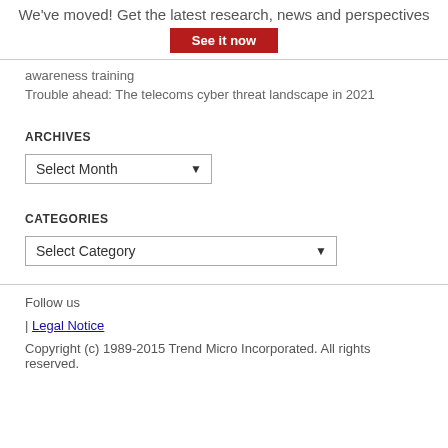We've moved! Get the latest research, news and perspectives
See it now
awareness training
Trouble ahead: The telecoms cyber threat landscape in 2021
ARCHIVES
Select Month
CATEGORIES
Select Category
Follow us
| Legal Notice
Copyright (c) 1989-2015 Trend Micro Incorporated. All rights reserved.